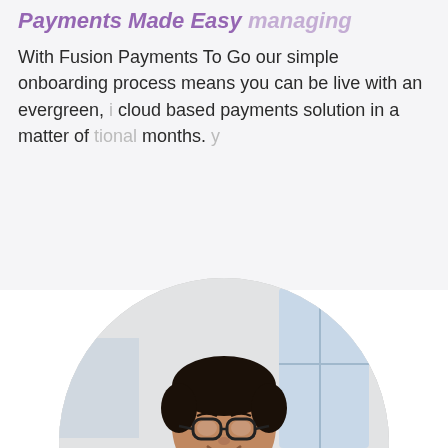Payments Made Easy (ongoing...)
With Fusion Payments To Go our simple onboarding process means you can be live with an evergreen, cloud based payments solution in a matter of months.
[Figure (photo): A smiling man wearing glasses and a purple/blue shirt, looking down at a tablet, photographed in a bright office environment. The photo is cropped in a circle.]